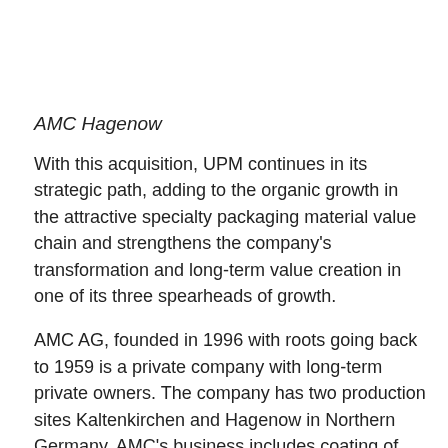AMC Hagenow
With this acquisition, UPM continues in its strategic path, adding to the organic growth in the attractive specialty packaging material value chain and strengthens the company's transformation and long-term value creation in one of its three spearheads of growth.
AMC AG, founded in 1996 with roots going back to 1959 is a private company with long-term private owners. The company has two production sites Kaltenkirchen and Hagenow in Northern Germany. AMC's business includes coating of pressure sensitive filmic labelstock and Viscom/Graphics materials under the Intercoat brand, and removable self-adhesive stationary products under the brand names Global Notes and Print Inform. The company employs more than 300 people and the latest financial